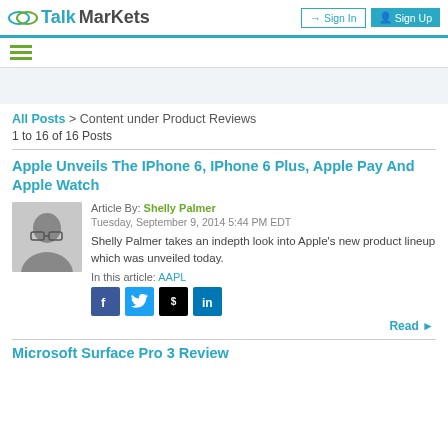TalkMarkets | Sign In | Sign Up
All Posts > Content under Product Reviews
1 to 16 of 16 Posts
Apple Unveils The IPhone 6, IPhone 6 Plus, Apple Pay And Apple Watch
Article By: Shelly Palmer
Tuesday, September 9, 2014 5:44 PM EDT
Shelly Palmer takes an indepth look into Apple's new product lineup which was unveiled today.
In this article: AAPL
Read▶
Microsoft Surface Pro 3 Review